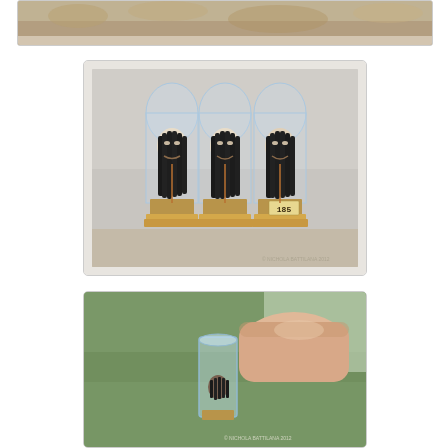[Figure (photo): Partial top image showing what appears to be a textured brown organic object against a light background, cropped at the top of the page.]
[Figure (photo): Three miniature shrunken head sculptures with dark hair, pale faces, and open mouths, each mounted on a pin with a cork base inside small glass dome vials. The rightmost vial has a label marked '185'. Watermark reads NICHOLA BATTILANA 2012.]
[Figure (photo): Close-up photo of fingers holding a small glass vial containing a tiny shrunken head sculpture. Watermark reads NICHOLA BATTILANA 2012.]